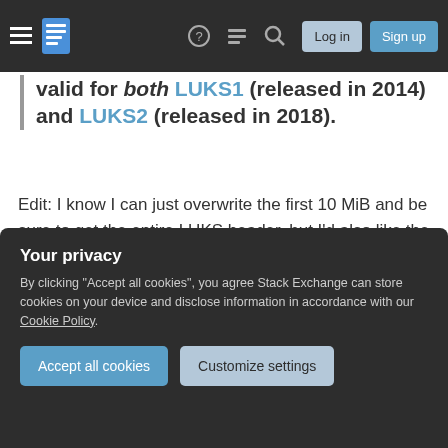Stack Exchange navigation bar with Log in and Sign up buttons
valid for both LUKS1 (released in 2014) and LUKS2 (released in 2018).
Edit: I know I can just overwrite the first 10 MiB and be sure to get the entire LUKS header, but I'd also like the ability to restore the header in the future in-case the emergency shutdown was accidental (triggered by a false-positive). So knowing the exact start & end bytes of the LUKS header are critical to avoid the risk of data corruption if restoring the LUKS header.
Your privacy
By clicking "Accept all cookies", you agree Stack Exchange can store cookies on your device and disclose information in accordance with our Cookie Policy.
Accept all cookies
Customize settings